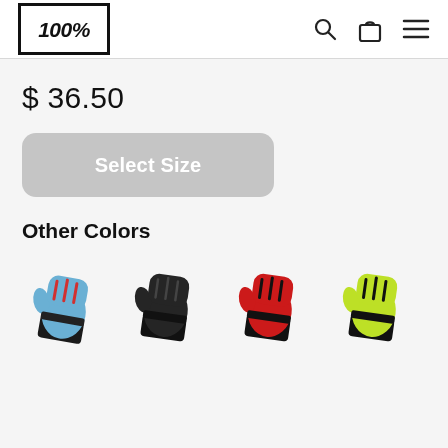[Figure (logo): 100% brand logo in black bold italic text inside a diamond/shield shaped border]
$ 36.50
Select Size
Other Colors
[Figure (photo): Four motocross gloves in different colors: blue with red/black accents, all black, red with black accents, and lime/yellow-green with black accents]